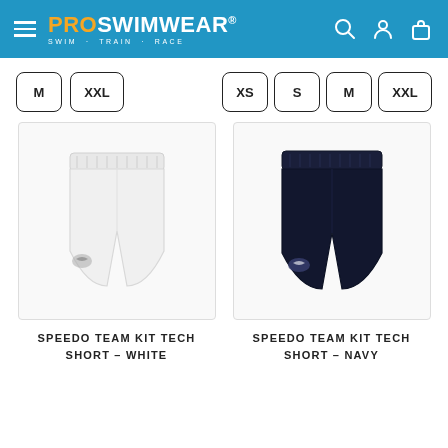PROSWIMWEAR® SWIM · TRAIN · RACE
[Figure (illustration): Size selector buttons for white shorts: M and XXL]
[Figure (illustration): Size selector buttons for navy shorts: XS, S, M, XXL]
[Figure (photo): Speedo Team Kit Tech Short in White]
[Figure (photo): Speedo Team Kit Tech Short in Navy]
SPEEDO TEAM KIT TECH SHORT – WHITE
SPEEDO TEAM KIT TECH SHORT – NAVY